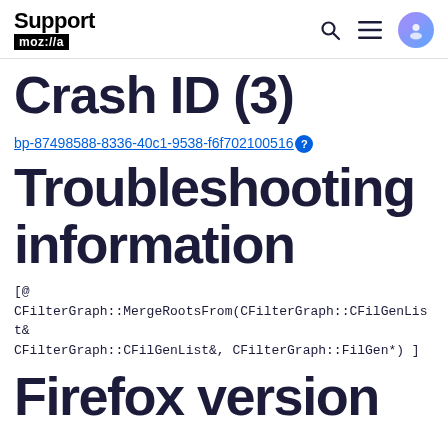Support mozilla:// [navigation icons]
Crash ID (3)
bp-87498588-8336-40c1-9538-f6f702100516
Troubleshooting information
[@ CFilterGraph::MergeRootsFrom(CFilterGraph::CFilGenList& CFilterGraph::CFilGenList&, CFilterGraph::FilGen*) ]
Firefox version